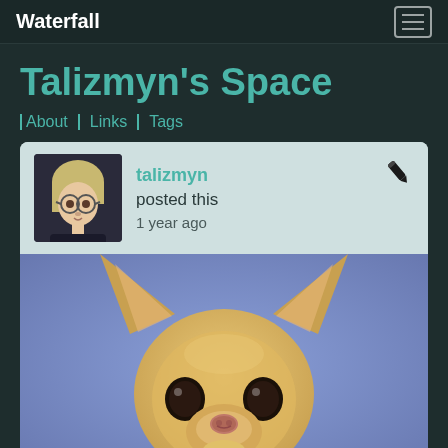Waterfall
Talizmyn's Space
About
Links
Tags
talizmyn posted this 1 year ago
[Figure (photo): A painted portrait of a Chihuahua dog with large ears, light tan fur, and dark eyes against a blue-purple background.]